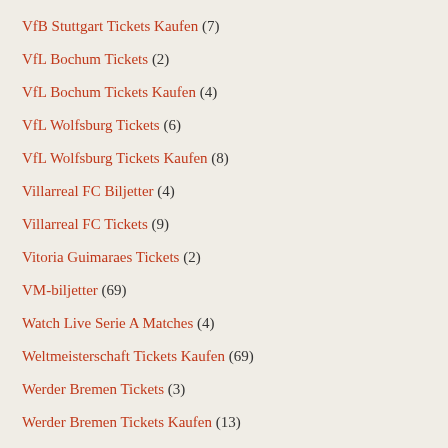VfB Stuttgart Tickets Kaufen (7)
VfL Bochum Tickets (2)
VfL Bochum Tickets Kaufen (4)
VfL Wolfsburg Tickets (6)
VfL Wolfsburg Tickets Kaufen (8)
Villarreal FC Biljetter (4)
Villarreal FC Tickets (9)
Vitoria Guimaraes Tickets (2)
VM-biljetter (69)
Watch Live Serie A Matches (4)
Weltmeisterschaft Tickets Kaufen (69)
Werder Bremen Tickets (3)
Werder Bremen Tickets Kaufen (13)
West Ham United Biljetter (4)
West Ham United Biljetter (4)